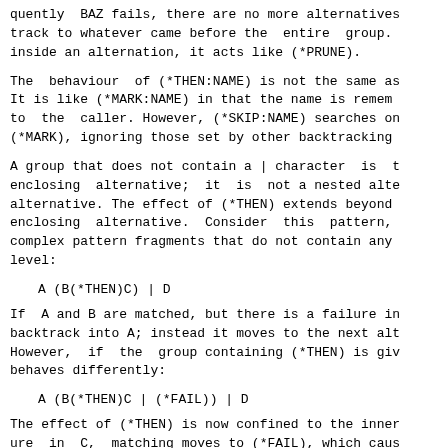quently  BAZ fails, there are no more alternatives
track to whatever came before the  entire  group.
inside an alternation, it acts like (*PRUNE).
The  behaviour  of (*THEN:NAME) is not the same as
It is like (*MARK:NAME) in that the name is remem
to  the  caller. However, (*SKIP:NAME) searches on
(*MARK), ignoring those set by other backtracking
A group that does not contain a | character  is  t
enclosing  alternative;  it  is  not a nested alte
alternative. The effect of (*THEN) extends beyond
enclosing  alternative.  Consider  this  pattern,
complex pattern fragments that do not contain any
level:
A (B(*THEN)C) | D
If  A and B are matched, but there is a failure in
backtrack into A; instead it moves to the next alt
However,  if  the  group containing (*THEN) is giv
behaves differently:
A (B(*THEN)C | (*FAIL)) | D
The effect of (*THEN) is now confined to the inner
ure  in  C,  matching moves to (*FAIL), which caus
fail because there are no more  alternatives  to
matching does backtrack into A.